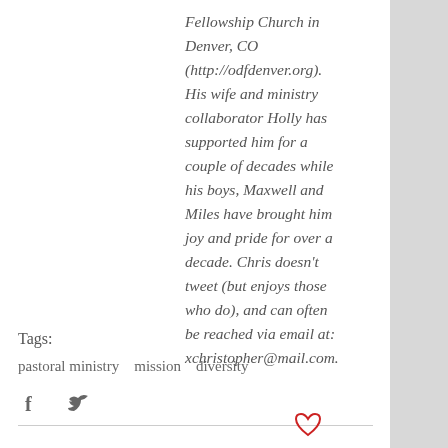Fellowship Church in Denver, CO (http://odfdenver.org). His wife and ministry collaborator Holly has supported him for a couple of decades while his boys, Maxwell and Miles have brought him joy and pride for over a decade. Chris doesn't tweet (but enjoys those who do), and can often be reached via email at: xchristopher@mail.com.
Tags:
pastoral ministry   mission   diversity
[Figure (other): Facebook and Twitter social sharing icons]
[Figure (other): Heart/like icon in red outline]